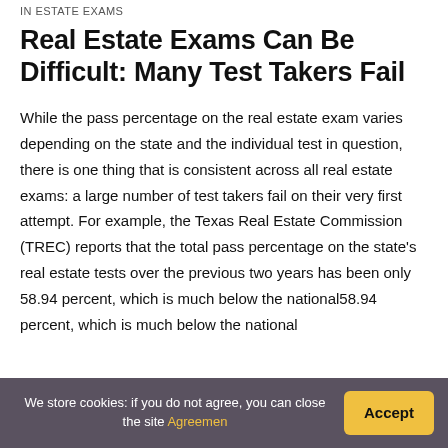in estate exams
Real Estate Exams Can Be Difficult: Many Test Takers Fail
While the pass percentage on the real estate exam varies depending on the state and the individual test in question, there is one thing that is consistent across all real estate exams: a large number of test takers fail on their very first attempt. For example, the Texas Real Estate Commission (TREC) reports that the total pass percentage on the state’s real estate tests over the previous two years has been only 58.94 percent, which is much below the national
We store cookies: if you do not agree, you can close the site Agreement